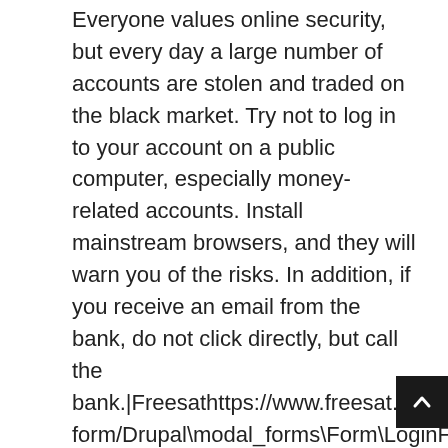Everyone values online security, but every day a large number of accounts are stolen and traded on the black market. Try not to log in to your account on a public computer, especially money-related accounts. Install mainstream browsers, and they will warn you of the risks. In addition, if you receive an email from the bank, do not click directly, but call the bank.|Freesathttps://www.freesat.co.uk/modal-form/Drupal\modal_forms\Form\LoginFreesat will process your data in accordance with our Privacy Notice Satelitná televízia | freeSAT SKhttps://www.freesat.skNov 23, 2021 · Satelitná televízia freeSAT sa stala členom rodiny Skylink a prináša vám službu Skylink Live TV – internetovú televíziu s videopožičovňou, ktorú máte teraz k dispozícii ako súčasť Vášho aktuálneho freeSAT balíčka. Chcem vidieť viac. I can't login to my